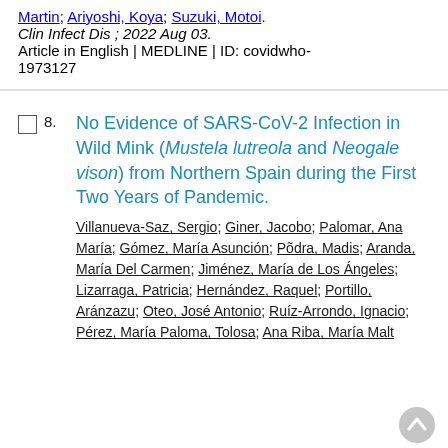Martin; Ariyoshi, Koya; Suzuki, Motoi.
Clin Infect Dis ; 2022 Aug 03.
Article in English | MEDLINE | ID: covidwho-1973127
8. No Evidence of SARS-CoV-2 Infection in Wild Mink (Mustela lutreola and Neogale vison) from Northern Spain during the First Two Years of Pandemic.
Villanueva-Saz, Sergio; Giner, Jacobo; Palomar, Ana María; Gómez, María Asunción; Põdra, Madis; Aranda, María Del Carmen; Jiménez, María de Los Ángeles; Lizarraga, Patricia; Hernández, Raquel; Portillo, Aránzazu; Oteo, José Antonio; Ruíz-Arrondo, Ignacio; Pérez, María Paloma, Tolosa; Ana Riba, María Malta...